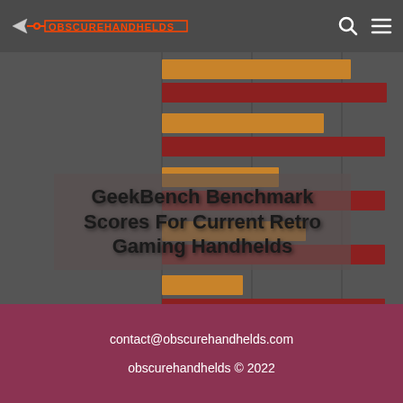OBSCUREHANDHELDS
[Figure (bar-chart): Horizontal bar chart showing GeekBench benchmark scores for retro gaming handhelds, with orange and dark red bars. The chart is partially visible with a title overlay.]
GeekBench Benchmark Scores For Current Retro Gaming Handhelds
contact@obscurehandhelds.com
obscurehandhelds © 2022